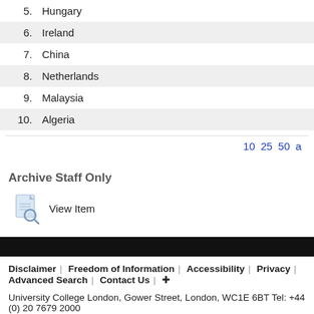5. Hungary
6. Ireland
7. China
8. Netherlands
9. Malaysia
10. Algeria
10 25 50 a
Archive Staff Only
View Item
Disclaimer | Freedom of Information | Accessibility | Privacy | Advanced Search | Contact Us | +
University College London, Gower Street, London, WC1E 6BT Tel: +44 (0) 20 7679 2000
© UCL 1999–2022